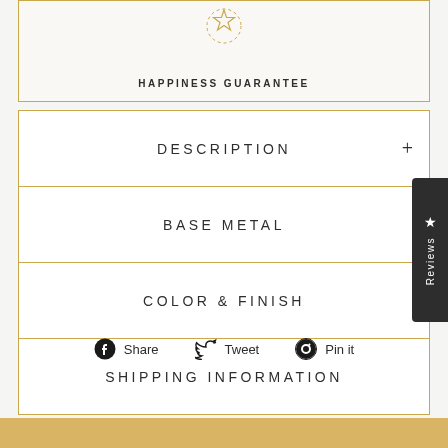HAPPINESS GUARANTEE
DESCRIPTION
BASE METAL
COLOR & FINISH
SHIPPING INFORMATION
Share Tweet Pin it